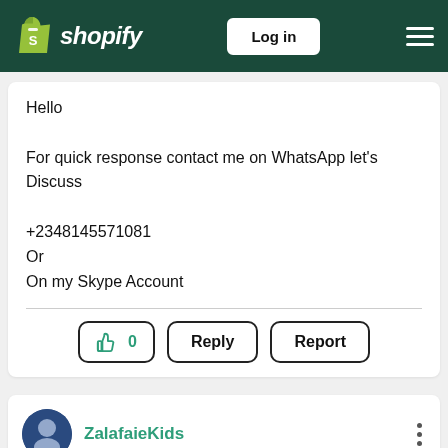shopify — Log in
Hello

For quick response contact me on WhatsApp let's Discuss

+2348145571081
Or
On my Skype Account
ZalafaieKids